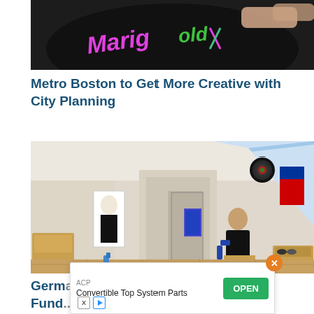[Figure (photo): Top portion of an image showing hands on a dark circular surface with colorful chalk-style lettering/artwork]
Metro Boston to Get More Creative with City Planning
[Figure (photo): Interior room with slanted ceiling/skylight, dart board on wall, artwork, a person sitting in a chair, hallway, wooden floor, shoe rack, and cabinets]
German Artists Are Selling Their Wo... to Fund...
ACP - Convertible Top System Parts [Advertisement with OPEN button]